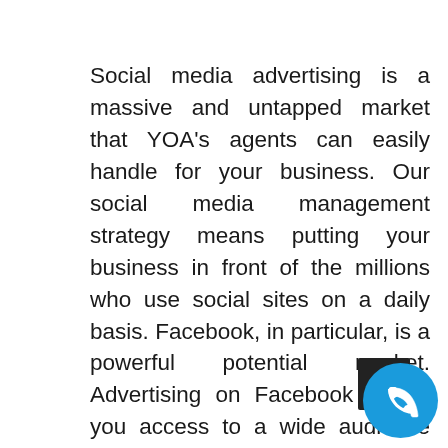Social media advertising is a massive and untapped market that YOA's agents can easily handle for your business. Our social media management strategy means putting your business in front of the millions who use social sites on a daily basis. Facebook, in particular, is a powerful potential market. Advertising on Facebook allows you access to a wide audience divided by age, location, occupation, interests, and more. You can choose your audience with exact precision, reaching your customers who need you most. With nearly a... visitors on a daily basis, YOA can... Facebook advertising to bring you to a whole new
[Figure (other): A phone call button: a dark square overlaid by a blue circle containing a white telephone handset icon, positioned in the bottom-right corner of the page.]